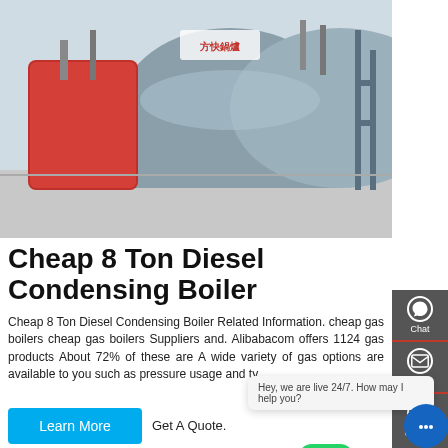[Figure (photo): Industrial boiler equipment in a factory setting — large cylindrical boiler units with piping and red components, industrial facility background]
Cheap 8 Ton Diesel Condensing Boiler
Cheap 8 Ton Diesel Condensing Boiler Related Information. cheap gas boilers cheap gas boilers Suppliers and. Alibabacom offers 1124 gas products About 72% of these are A wide variety of gas options are available to you such as pressure usage and ty Get A Quote.
Learn More
HOT NEWS
Low Price 1t Coal Condensing Boiler
yukon dual fuel boiler Agent
Hey, we are live 24/7. How may I help you?